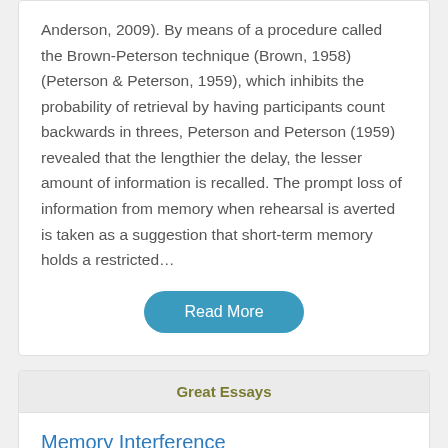Anderson, 2009). By means of a procedure called the Brown-Peterson technique (Brown, 1958) (Peterson & Peterson, 1959), which inhibits the probability of retrieval by having participants count backwards in threes, Peterson and Peterson (1959) revealed that the lengthier the delay, the lesser amount of information is recalled. The prompt loss of information from memory when rehearsal is averted is taken as a suggestion that short-term memory holds a restricted…
Read More
Great Essays
Memory Interference